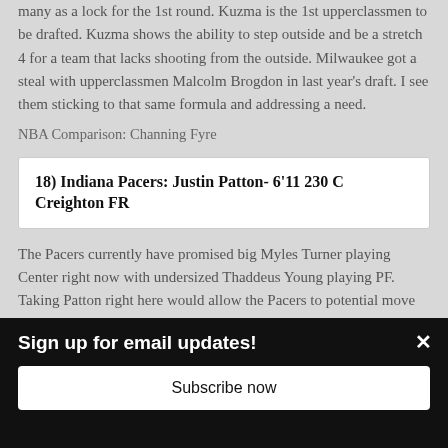many as a lock for the 1st round. Kuzma is the 1st upperclassmen to be drafted. Kuzma shows the ability to step outside and be a stretch 4 for a team that lacks shooting from the outside. Milwaukee got a steal with upperclassmen Malcolm Brogdon in last year's draft. I see them sticking to that same formula and addressing a need.
NBA Comparison: Channing Fyre
18) Indiana Pacers: Justin Patton- 6'11 230 C Creighton FR
The Pacers currently have promised big Myles Turner playing Center right now with undersized Thaddeus Young playing PF. Taking Patton right here would allow the Pacers to potential move Turner to PF and add size to the
Sign up for email updates!
Subscribe now